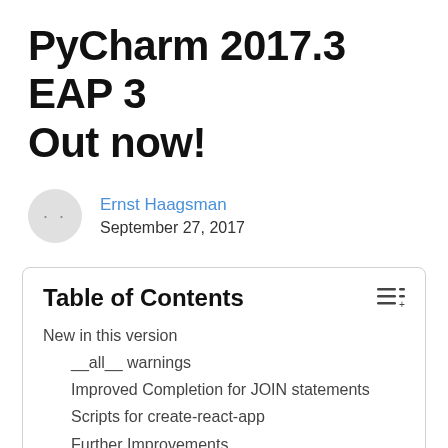PyCharm 2017.3 EAP 3 Out now!
Ernst Haagsman
September 27, 2017
Table of Contents
New in this version
__all__ warnings
Improved Completion for JOIN statements
Scripts for create-react-app
Further Improvements